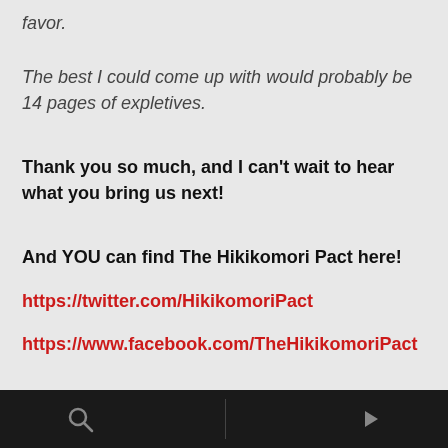favor.
The best I could come up with would probably be 14 pages of expletives.
Thank you so much, and I can't wait to hear what you bring us next!
And YOU can find The Hikikomori Pact here!
https://twitter.com/HikikomoriPact
https://www.facebook.com/TheHikikomoriPact